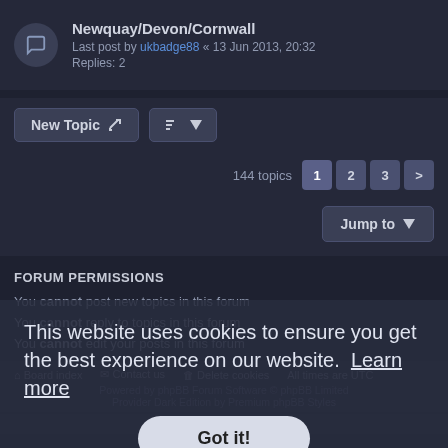Newquay/Devon/Cornwall
Last post by ukbadge88 « 13 Jun 2013, 20:32
Replies: 2
New Topic | Sort | 144 topics | 1 | 2 | 3 | > | Jump to
FORUM PERMISSIONS
You cannot post new topics in this forum
You cannot reply to topics in this forum
You cannot edit your posts in this forum
You cannot delete your posts in this forum
You cannot post attachments in this forum
Board index | Contact us | Delete cookies | All times are UTC
Powered by phpBB Forum Software © phpBB Limited
Provider Dark Edition by Premium phpBB Styles
Privacy | Terms
This website uses cookies to ensure you get the best experience on our website. Learn more
Got it!